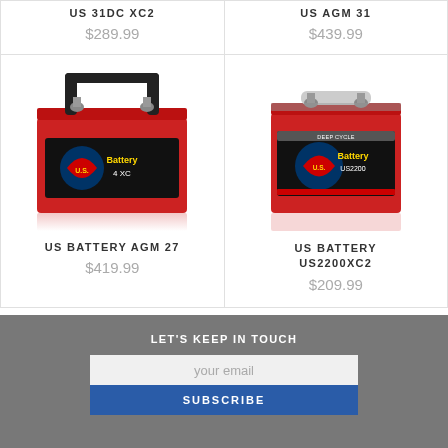US 31DC XC2
$289.99
US AGM 31
$439.99
[Figure (photo): Red US Battery AGM 27 with black carry handles]
US BATTERY AGM 27
$419.99
[Figure (photo): Red US Battery US2200XC2 small deep cycle battery]
US BATTERY US2200XC2
$209.99
LET'S KEEP IN TOUCH
your email
SUBSCRIBE